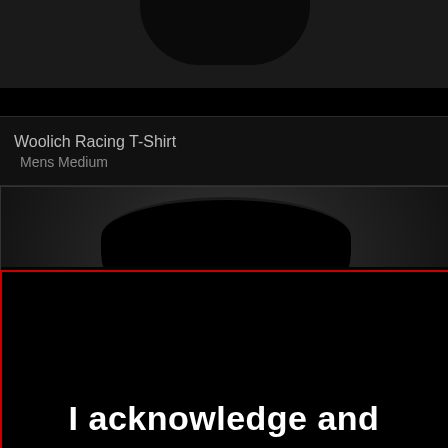[Figure (photo): Top portion of a dark product image showing a black object (likely clothing) against a dark gray background, cropped at top]
Woolich Racing T-Shirt
   Mens Medium
[Figure (photo): Photo of a black t-shirt showing the collar/neckline area against a gray background, with a red border overlay on the lower portion. A faint cursive logo (Woolich) is visible on the shirt. Below the shirt image is the text 'I acknowledge and']